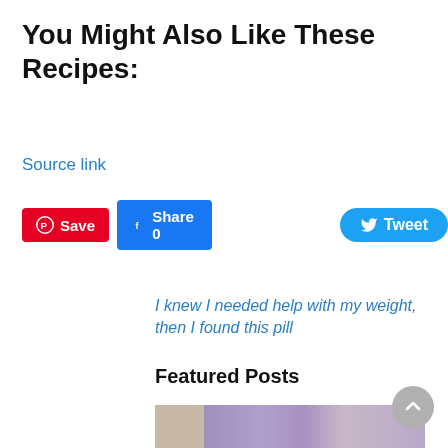You Might Also Like These Recipes:
Source link
[Figure (other): Social sharing buttons: Save (Pinterest, red), Share 0 (Facebook, blue), Tweet (Twitter, blue rounded)]
I knew I needed help with my weight, then I found this pill
Featured Posts
[Figure (photo): Photo of purple flowers and chocolates on white background]